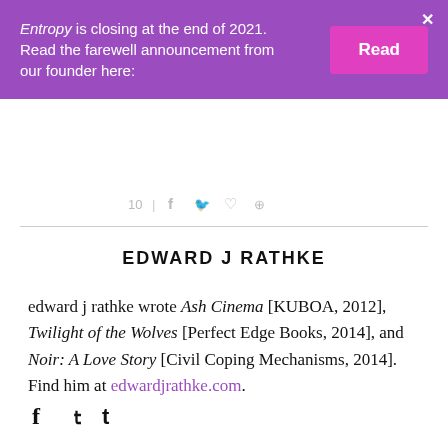Entropy is closing at the end of 2021. Read the farewell announcement from our founder here:
[Figure (other): Social share bar with icons for likes, Facebook, Twitter, save, and Pinterest]
EDWARD J RATHKE
edward j rathke wrote Ash Cinema [KUBOA, 2012], Twilight of the Wolves [Perfect Edge Books, 2014], and Noir: A Love Story [Civil Coping Mechanisms, 2014]. Find him at edwardjrathke.com.
[Figure (other): Social media icons: Facebook (f), Twitter (bird), Tumblr (t)]